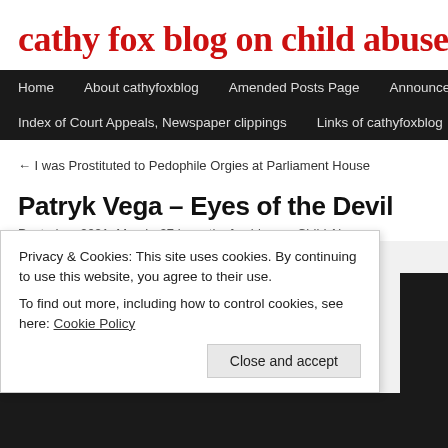cathy fox blog on child abuse
Home | About cathyfoxblog | Amended Posts Page | Announcements | Index of Court Appeals, Newspaper clippings | Links of cathyfoxblog
← I was Prostituted to Pedophile Orgies at Parliament House
Patryk Vega – Eyes of the Devil
Posted on 2021, March, 27 by cathy fox blog on Child Abuse
Privacy & Cookies: This site uses cookies. By continuing to use this website, you agree to their use.
To find out more, including how to control cookies, see here: Cookie Policy
Close and accept